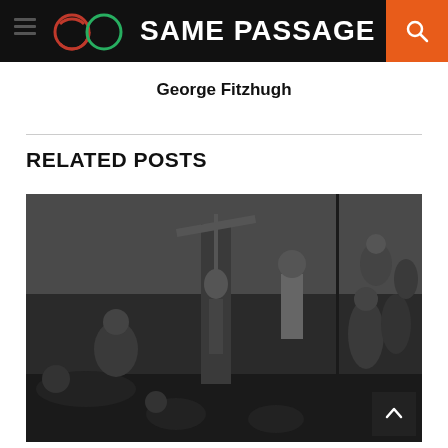SAME PASSAGE
George Fitzhugh
RELATED POSTS
[Figure (illustration): Historical black and white illustration depicting a scene from slavery, showing enslaved people in various states of distress and labor, with a central figure being hoisted, surrounded by groups of people including an overseer.]